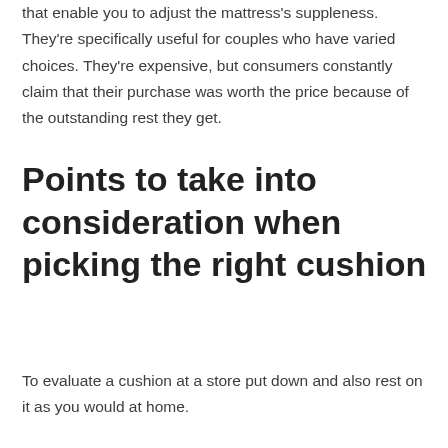that enable you to adjust the mattress's suppleness. They're specifically useful for couples who have varied choices. They're expensive, but consumers constantly claim that their purchase was worth the price because of the outstanding rest they get.
Points to take into consideration when picking the right cushion
To evaluate a cushion at a store put down and also rest on it as you would at home.